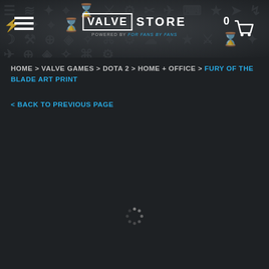[Figure (screenshot): Valve Store website header banner with dark gamer-themed background pattern featuring weapon and symbol silhouettes]
VALVE STORE — POWERED BY FOR FANS BY FANS
HOME > VALVE GAMES > DOTA 2 > HOME + OFFICE > FURY OF THE BLADE ART PRINT
< BACK TO PREVIOUS PAGE